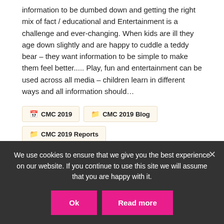information to be dumbed down and getting the right mix of fact / educational and Entertainment is a challenge and ever-changing. When kids are ill they age down slightly and are happy to cuddle a teddy bear – they want information to be simple to make them feel better..... Play, fun and entertainment can be used across all media – children learn in different ways and all information should…
CMC 2019
CMC 2019 Blog
CMC 2019 Reports
Event Reports
Continue reading >
CMC 2019: Report – VR and AR Storytelling for Kids
We use cookies to ensure that we give you the best experience on our website. If you continue to use this site we will assume that you are happy with it.
Ok
Read more